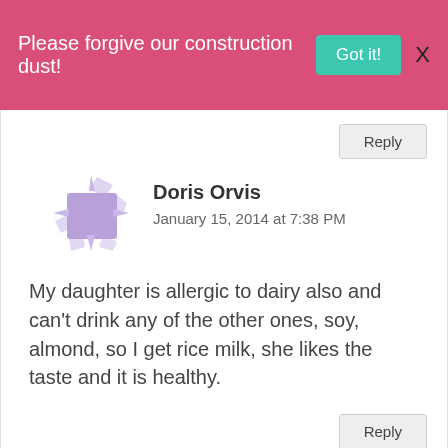Please forgive our construction dust!
Got it!
X
Reply
Doris Orvis
January 15, 2014 at 7:38 PM
My daughter is allergic to dairy also and can't drink any of the other ones, soy, almond, so I get rice milk, she likes the taste and it is healthy.
Reply